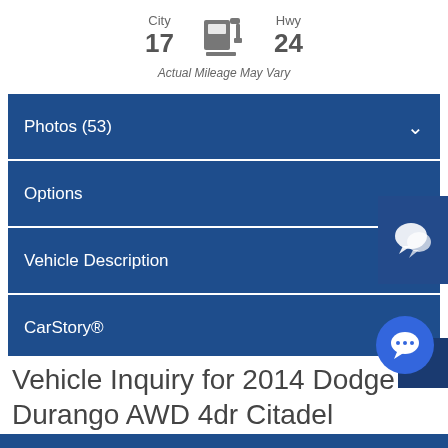City 17 | Hwy 24
Actual Mileage May Vary
Photos (53)
Options
Vehicle Description
CarStory®
Vehicle Inquiry
Vehicle Inquiry for 2014 Dodge Durango AWD 4dr Citadel